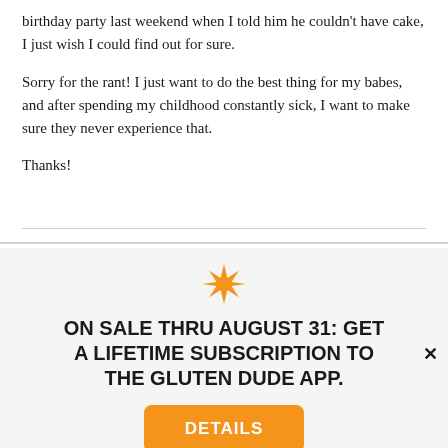birthday party last weekend when I told him he couldn't have cake, I just wish I could find out for sure.

Sorry for the rant! I just want to do the best thing for my babes, and after spending my childhood constantly sick, I want to make sure they never experience that.

Thanks!
[Figure (other): Orange eight-pointed star / asterisk decorative icon]
ON SALE THRU AUGUST 31: GET A LIFETIME SUBSCRIPTION TO THE GLUTEN DUDE APP.
DETAILS